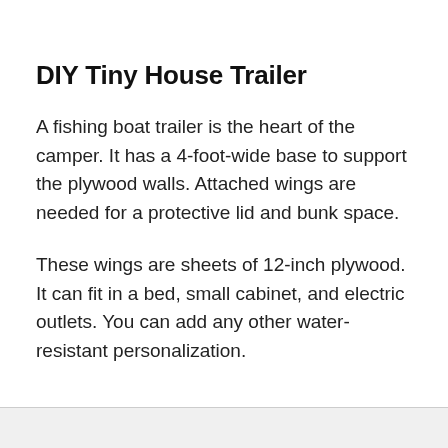DIY Tiny House Trailer
A fishing boat trailer is the heart of the camper. It has a 4-foot-wide base to support the plywood walls. Attached wings are needed for a protective lid and bunk space.
These wings are sheets of 12-inch plywood. It can fit in a bed, small cabinet, and electric outlets. You can add any other water-resistant personalization.